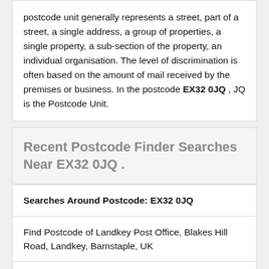postcode unit generally represents a street, part of a street, a single address, a group of properties, a single property, a sub-section of the property, an individual organisation. The level of discrimination is often based on the amount of mail received by the premises or business. In the postcode EX32 0JQ , JQ is the Postcode Unit.
Recent Postcode Finder Searches Near EX32 0JQ .
Searches Around Postcode: EX32 0JQ
Find Postcode of Landkey Post Office, Blakes Hill Road, Landkey, Barnstaple, UK
Searches Around Postal District: EX32
Find Postcode of 1 Harford Road, Landkey, Barnstaple, UK
Find Postcode of 21 Lethaby Road, Barnstaple, UK